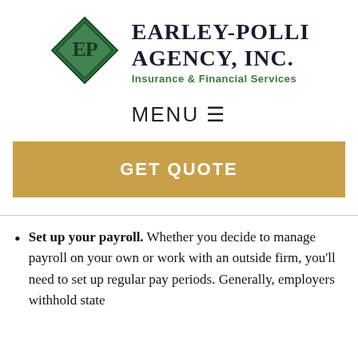[Figure (logo): Earley-Polli Agency, Inc. logo with green diamond shape containing 'EP' initials, company name in dark serif font, and tagline 'Insurance & Financial Services' in green]
MENU ≡
GET QUOTE
Set up your payroll. Whether you decide to manage payroll on your own or work with an outside firm, you'll need to set up regular pay periods. Generally, employers withhold state